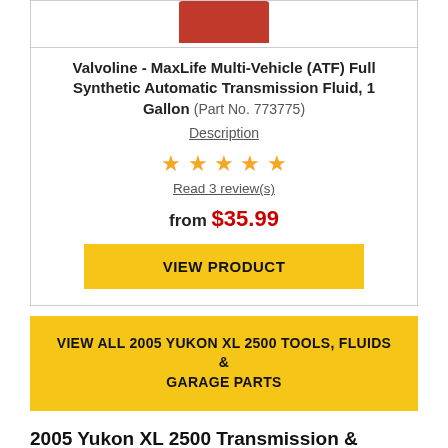[Figure (photo): Red product image (partial, cropped at top) of Valvoline ATF fluid container]
Valvoline - MaxLife Multi-Vehicle (ATF) Full Synthetic Automatic Transmission Fluid, 1 Gallon (Part No. 773775)
Description
[Figure (other): 5 gold star rating icons]
Read 3 review(s)
from $35.99
VIEW PRODUCT
VIEW ALL 2005 YUKON XL 2500 TOOLS, FLUIDS & GARAGE PARTS
2005 Yukon XL 2500 Transmission & Drivetrain Parts
No need for it to be difficult to find Transmission & Drivetrain